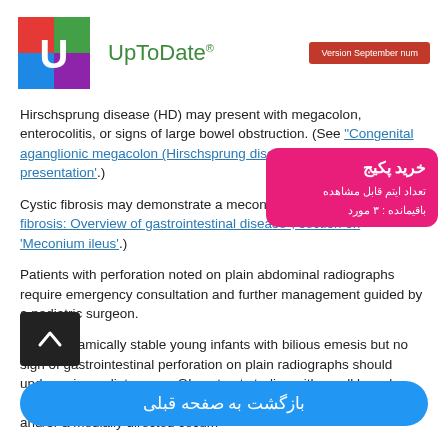[Figure (logo): UpToDate logo with colorful U icon and green brand name, plus red version badge]
Hirschsprung disease (HD) may present with megacolon, enterocolitis, or signs of large bowel obstruction. (See "Congenital aganglionic megacolon (Hirschsprung disease)", section on 'Clinical presentation'.)
Cystic fibrosis may demonstrate a meconium ileus. (See "Cystic fibrosis: Overview of gastrointestinal disease", section on 'Meconium ileus'.)
Patients with perforation noted on plain abdominal radiographs require emergency consultation and further management guided by a pediatric surgeon.
Hemodynamically stable young infants with bilious emesis but no sign of gastrointestinal perforation on plain radiographs should undergo immediate upper GI contrast studies with small bowel follow-through to identify a duodenal bulb that overlies the spine and/or a medially directed cecum